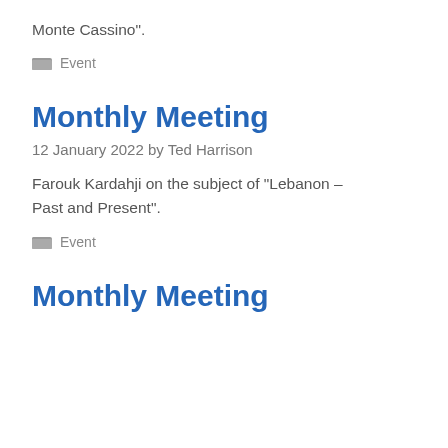Monte Cassino".
Event
Monthly Meeting
12 January 2022 by Ted Harrison
Farouk Kardahji on the subject of “Lebanon – Past and Present”.
Event
Monthly Meeting